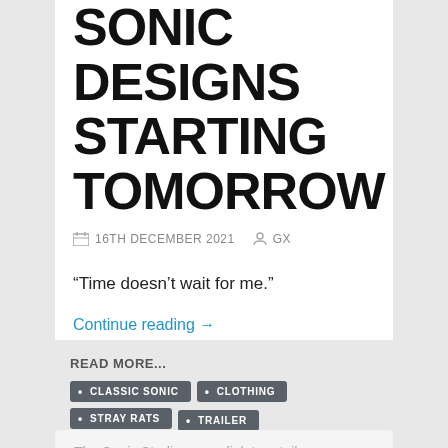TEASES MORE SONIC DESIGNS STARTING TOMORROW
16TH DECEMBER 2021  GX
“Time doesn’t wait for me.”
Continue reading →
READ MORE...
CLASSIC SONIC
CLOTHING
STRAY RATS
TRAILER
The Sonic Stadium may link to retailers